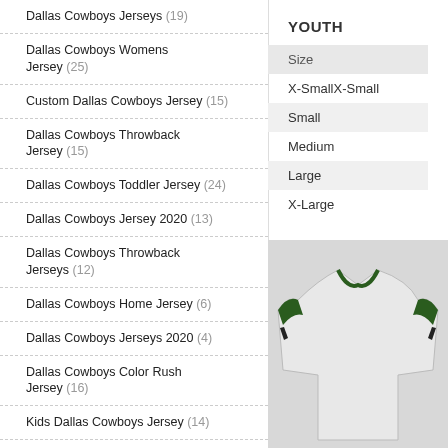Dallas Cowboys Jerseys (19)
Dallas Cowboys Womens Jersey (25)
Custom Dallas Cowboys Jersey (15)
Dallas Cowboys Throwback Jersey (15)
Dallas Cowboys Toddler Jersey (24)
Dallas Cowboys Jersey 2020 (13)
Dallas Cowboys Throwback Jerseys (12)
Dallas Cowboys Home Jersey (6)
Dallas Cowboys Jerseys 2020 (4)
Dallas Cowboys Color Rush Jersey (16)
Kids Dallas Cowboys Jersey (14)
Deion Sanders Dallas Cowboys Jersey (8)
Black Dallas Cowboys Jersey (15)
YOUTH
| Size |
| --- |
| X-Small |
| Small |
| Medium |
| Large |
| X-Large |
[Figure (photo): Youth sports jersey photo, white jersey with green and black trim]